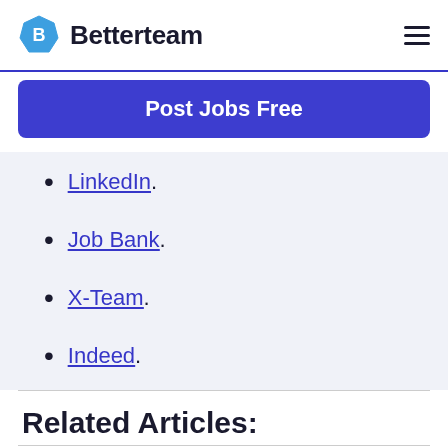Betterteam
[Figure (logo): Betterteam logo with blue hexagon icon and bold text]
Post Jobs Free
LinkedIn.
Job Bank.
X-Team.
Indeed.
Related Articles: